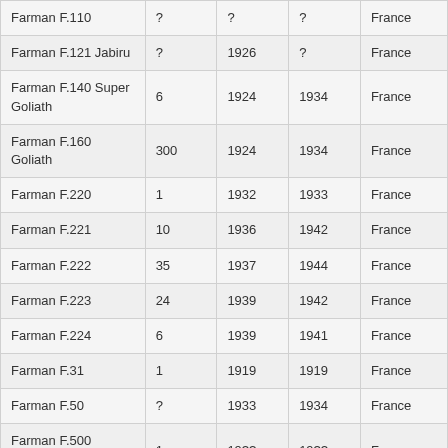| Farman F.110 | ? | ? | ? | France |
| Farman F.121 Jabiru | ? | 1926 | ? | France |
| Farman F.140 Super Goliath | 6 | 1924 | 1934 | France |
| Farman F.160 Goliath | 300 | 1924 | 1934 | France |
| Farman F.220 | 1 | 1932 | 1933 | France |
| Farman F.221 | 10 | 1936 | 1942 | France |
| Farman F.222 | 35 | 1937 | 1944 | France |
| Farman F.223 | 24 | 1939 | 1942 | France |
| Farman F.224 | 6 | 1939 | 1941 | France |
| Farman F.31 | 1 | 1919 | 1919 | France |
| Farman F.50 | ? | 1933 | 1934 | France |
| Farman F.500 Monitor | 1 | 19?? | 19?? | France |